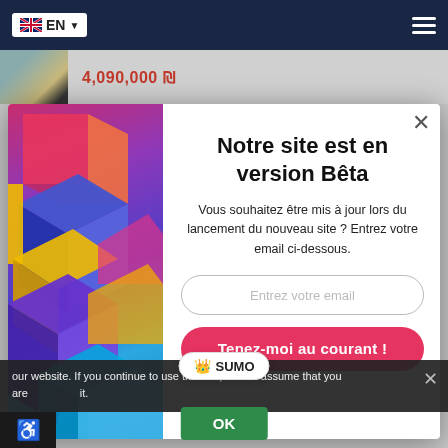[Figure (screenshot): Navigation bar with EN language selector and hamburger menu on dark navy background]
4,090,000 ₪
[Figure (illustration): Modal popup with colorful geometric 3D cube illustration on left side]
Notre site est en version Bêta
Vous souhaitez être mis à jour lors du lancement du nouveau site ? Entrez votre email ci-dessous.
Entrez votre email
Tenez-moi au courant !
our website. If you continue to use this site, we will assume that you are it.
[Figure (logo): SUMO logo badge with crown icon]
OK